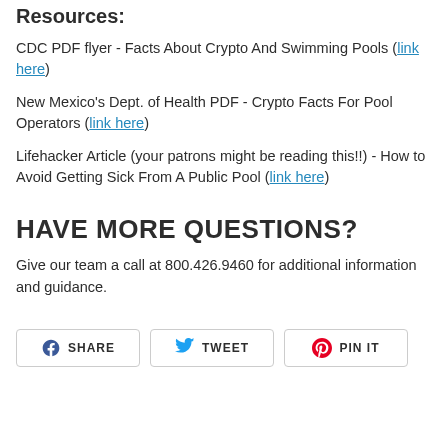Resources:
CDC PDF flyer - Facts About Crypto And Swimming Pools (link here)
New Mexico's Dept. of Health PDF - Crypto Facts For Pool Operators (link here)
Lifehacker Article (your patrons might be reading this!!) - How to Avoid Getting Sick From A Public Pool (link here)
HAVE MORE QUESTIONS?
Give our team a call at 800.426.9460 for additional information and guidance.
SHARE  TWEET  PIN IT